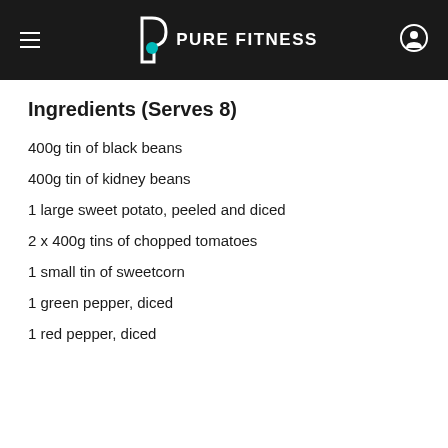PURE FITNESS
Ingredients (Serves 8)
400g tin of black beans
400g tin of kidney beans
1 large sweet potato, peeled and diced
2 x 400g tins of chopped tomatoes
1 small tin of sweetcorn
1 green pepper, diced
1 red pepper, diced